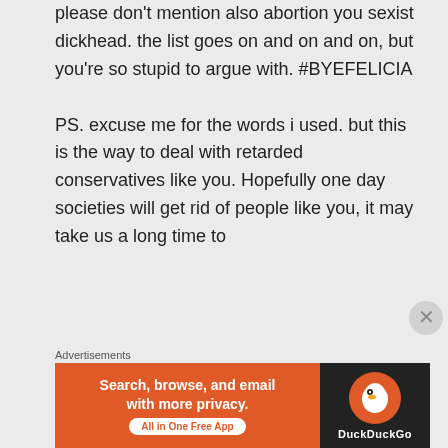please don't mention also abortion you sexist dickhead.
the list goes on and on and on, but you're so stupid to argue with. #BYEFELICIA

PS. excuse me for the words i used. but this is the way to deal with retarded conservatives like you. Hopefully one day societies will get rid of people like you, it may take us a long time to
Advertisements
[Figure (screenshot): DuckDuckGo advertisement banner: orange left side with text 'Search, browse, and email with more privacy. All in One Free App' and dark right side with DuckDuckGo logo]